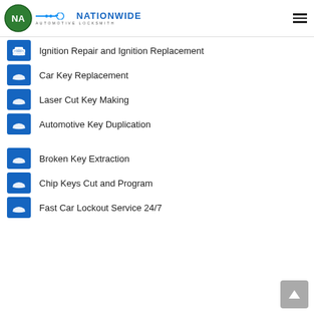NATIONWIDE AUTOMOTIVE LOCKSMITH
Ignition Repair and Ignition Replacement
Car Key Replacement
Laser Cut Key Making
Automotive Key Duplication
Broken Key Extraction
Chip Keys Cut and Program
Fast Car Lockout Service 24/7